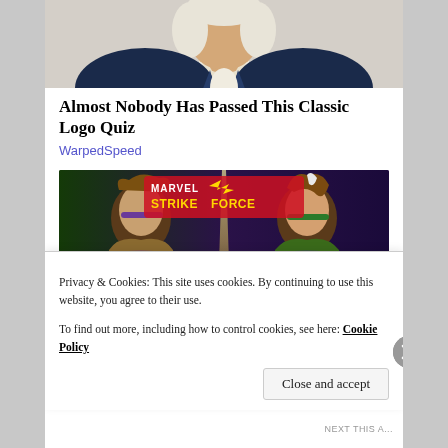[Figure (illustration): Top portion of an illustrated character in colonial dress with white wig/hair, dark jacket and white cravat, cropped at chest level]
Almost Nobody Has Passed This Classic Logo Quiz
WarpedSpeed
[Figure (photo): Marvel Strike Force mobile game advertisement showing two animated characters: a male character with purple headband on the left and Rogue (white and brown hair, green and yellow outfit) on the right, with the Marvel Strike Force logo at the top]
Privacy & Cookies: This site uses cookies. By continuing to use this website, you agree to their use.
To find out more, including how to control cookies, see here: Cookie Policy
Close and accept